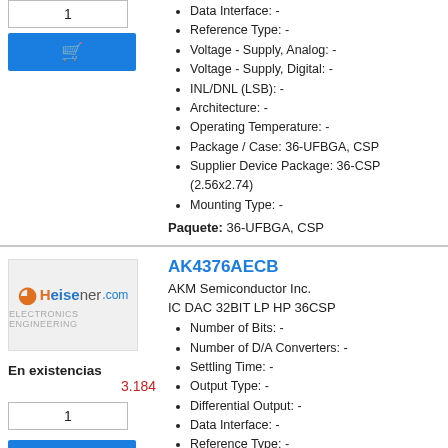Data Interface: -
Reference Type: -
Voltage - Supply, Analog: -
Voltage - Supply, Digital: -
INL/DNL (LSB): -
Architecture: -
Operating Temperature: -
Package / Case: 36-UFBGA, CSP
Supplier Device Package: 36-CSP (2.56x2.74)
Mounting Type: -
Paquete: 36-UFBGA, CSP
[Figure (logo): Heisener.com logo]
En existencias
3.184
AK4376AECB
AKM Semiconductor Inc.
IC DAC 32BIT LP HP 36CSP
Number of Bits: -
Number of D/A Converters: -
Settling Time: -
Output Type: -
Differential Output: -
Data Interface: -
Reference Type: -
Voltage - Supply, Analog: -